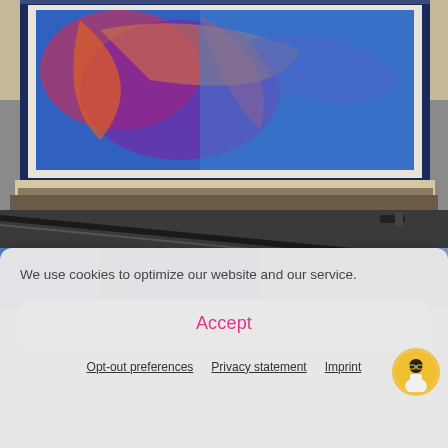[Figure (photo): Photograph of a framed artwork with colorful abstract print (blue, red, orange, purple tones) lying on what appears to be a gray surface, with artwork frames and a zipper bag visible below.]
[Figure (photo): Partial view of another artwork or print showing blue and purple gradient tones.]
We use cookies to optimize our website and our service.
Accept
Opt-out preferences  Privacy statement  Imprint